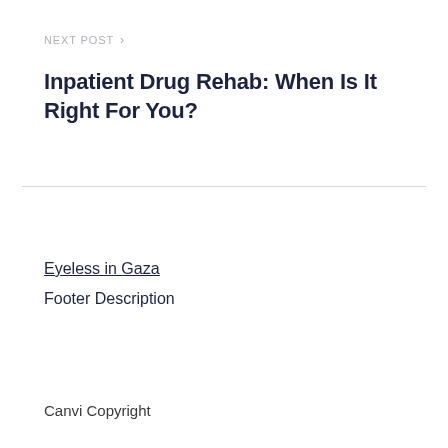NEXT POST >
Inpatient Drug Rehab: When Is It Right For You?
Eyeless in Gaza
Footer Description
Canvi Copyright